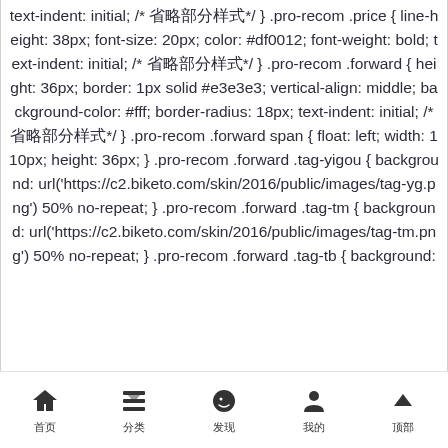text-indent: initial; /* 省略部分样式*/ } .pro-recom .price { line-height: 38px; font-size: 20px; color: #df0012; font-weight: bold; text-indent: initial; /* 省略部分样式*/ } .pro-recom .forward { height: 36px; border: 1px solid #e3e3e3; vertical-align: middle; background-color: #fff; border-radius: 18px; text-indent: initial; /* 省略部分样式*/ } .pro-recom .forward span { float: left; width: 110px; height: 36px; } .pro-recom .forward .tag-yigou { background: url('https://c2.biketo.com/skin/2016/public/images/tag-yg.png') 50% no-repeat; } .pro-recom .forward .tag-tm { background: url('https://c2.biketo.com/skin/2016/public/images/tag-tm.png') 50% no-repeat; } .pro-recom .forward .tag-tb { background:
首页  分类  发现  我的  顶部